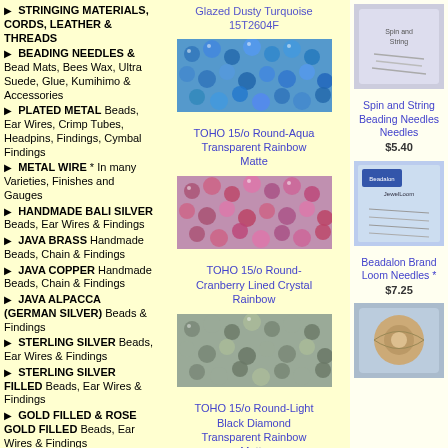▶ STRINGING MATERIALS, CORDS, LEATHER & THREADS
▶ BEADING NEEDLES & Bead Mats, Bees Wax, Ultra Suede, Glue, Kumihimo & Accessories
▶ PLATED METAL Beads, Ear Wires, Crimp Tubes, Headpins, Findings, Cymbal Findings
▶ METAL WIRE * In many Varieties, Finishes and Gauges
▶ HANDMADE BALI SILVER Beads, Ear Wires & Findings
▶ JAVA BRASS Handmade Beads, Chain & Findings
▶ JAVA COPPER Handmade Beads, Chain & Findings
▶ JAVA ALPACCA (GERMAN SILVER) Beads & Findings
▶ STERLING SILVER Beads, Ear Wires & Findings
▶ STERLING SILVER FILLED Beads, Ear Wires & Findings
▶ GOLD FILLED & ROSE GOLD FILLED Beads, Ear Wires & Findings
▶
Glazed Dusty Turquoise 15T2604F
[Figure (photo): TOHO 15/o Round-Aqua Transparent Rainbow Matte beads - blue/aqua colored round beads close-up]
TOHO 15/o Round-Aqua Transparent Rainbow Matte
[Figure (photo): TOHO 15/o Round-Cranberry Lined Crystal Rainbow beads - pink/cranberry round beads close-up]
TOHO 15/o Round-Cranberry Lined Crystal Rainbow
[Figure (photo): TOHO 15/o Round-Light Black Diamond Transparent Rainbow Matte beads - grey/silver round beads close-up]
TOHO 15/o Round-Light Black Diamond Transparent Rainbow Matte
[Figure (photo): Spin and String Beading Needles product image]
Spin and String Beading Needles $5.40
[Figure (photo): Beadalon Brand Loom Needles product packaging image]
Beadalon Brand Loom Needles * $7.25
[Figure (photo): Thread/stringing material product image]